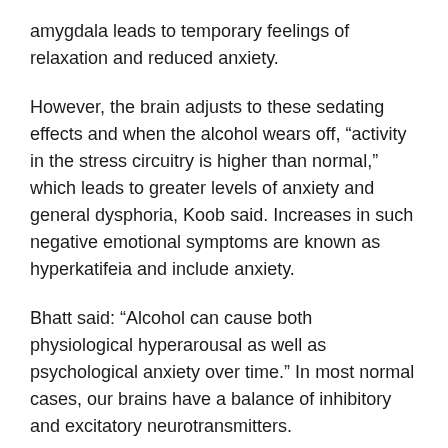amygdala leads to temporary feelings of relaxation and reduced anxiety.
However, the brain adjusts to these sedating effects and when the alcohol wears off, “activity in the stress circuitry is higher than normal,” which leads to greater levels of anxiety and general dysphoria, Koob said. Increases in such negative emotional symptoms are known as hyperkatifeia and include anxiety.
Bhatt said: “Alcohol can cause both physiological hyperarousal as well as psychological anxiety over time.” In most normal cases, our brains have a balance of inhibitory and excitatory neurotransmitters.